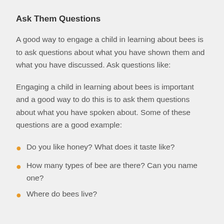Ask Them Questions
A good way to engage a child in learning about bees is to ask questions about what you have shown them and what you have discussed. Ask questions like:
Engaging a child in learning about bees is important and a good way to do this is to ask them questions about what you have spoken about. Some of these questions are a good example:
Do you like honey? What does it taste like?
How many types of bee are there? Can you name one?
Where do bees live?